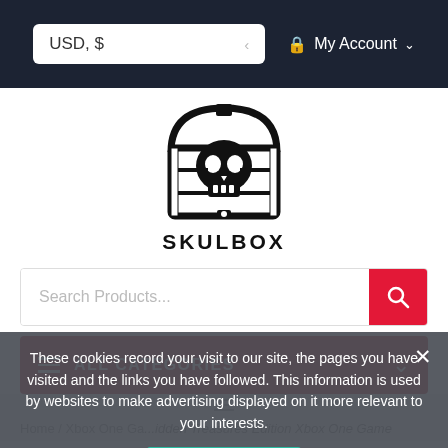USD, $   My Account
[Figure (logo): Skulbox logo: skull inside an arched treasure chest shape, with the text SKULBOX below]
Search Products...
ALL CATEGORIES
These cookies record your visit to our site, the pages you have visited and the links you have followed. This information is used by websites to make advertising displayed on it more relevant to your interests.
Cookie Policy
OK
Home / Xbox One Games / ... Hidden Treasures Edition Xbox One Game